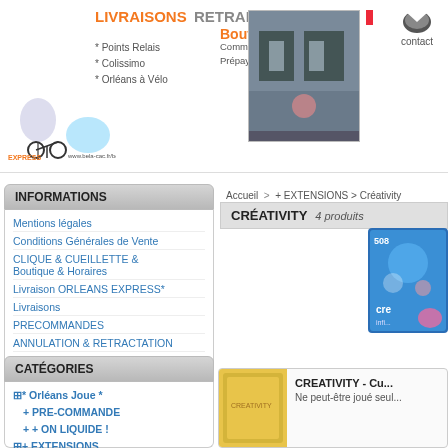[Figure (illustration): Website header with Orleans Express bicycle delivery logo, LIVRAISONS RETRAIT Boutique text in orange and gray, bullet points for Points Relais, Colissimo, Orleans a Velo, Commandes Prepayees. Bel-cac logo shown. Shop front photo on right. French flag and contact icon top right.]
INFORMATIONS
Mentions légales
Conditions Générales de Vente
CLIQUE & CUEILLETTE & Boutique & Horaires
Livraison ORLEANS EXPRESS*
Livraisons
PRECOMMANDES
ANNULATION & RETRACTATION
Avantages, Parrainages & Fidélité
Mandats Administratifs, TVA ...
CATÉGORIES
⊞* Orléans Joue *
+ PRE-COMMANDE
+ + ON LIQUIDE !
⊞+ EXTENSIONS
Accueil > + EXTENSIONS > Créativity
CRÉATIVITY   4 produits
[Figure (photo): Blue board game box partially visible on right side]
[Figure (photo): Yellow product box in bottom product card]
CREATIVITY - Cu...
Ne peut-être joué seul...